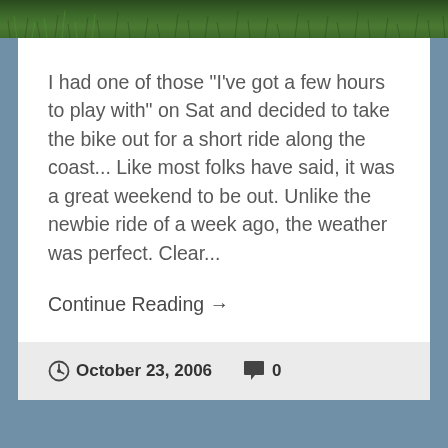[Figure (photo): Grass/lawn photograph strip at top of page]
I had one of those "I've got a few hours to play with" on Sat and decided to take the bike out for a short ride along the coast... Like most folks have said, it was a great weekend to be out. Unlike the newbie ride of a week ago, the weather was perfect. Clear...
Continue Reading →
October 23, 2006   0